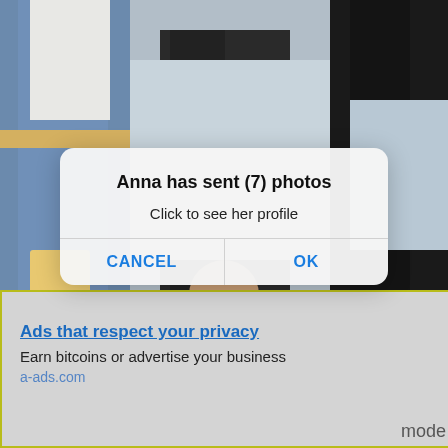[Figure (screenshot): Background photo showing lower bodies of people standing outdoors, partially obscured by a modal dialog and an advertisement overlay.]
Anna has sent (7) photos
Click to see her profile
CANCEL
OK
Ads that respect your privacy
Earn bitcoins or advertise your business
a-ads.com
mode
mode